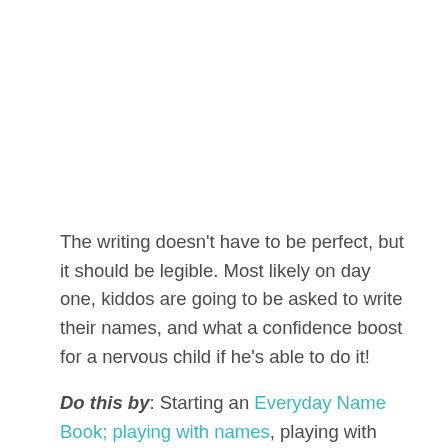The writing doesn't have to be perfect, but it should be legible. Most likely on day one, kiddos are going to be asked to write their names, and what a confidence boost for a nervous child if he's able to do it!
Do this by: Starting an Everyday Name Book; playing with names, playing with family names; finding any and every excuse to write names!